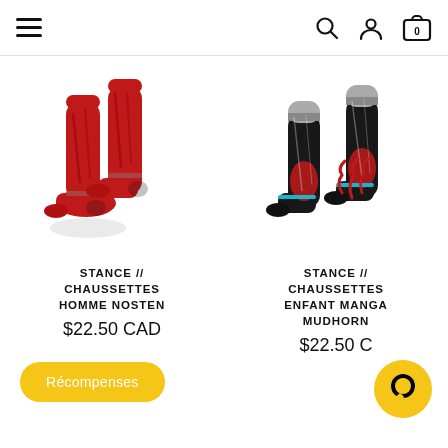Navigation bar with hamburger menu, search, account, and cart icons
[Figure (photo): Red Stance socks (NOSTEN) on white background]
STANCE // CHAUSSETTES HOMME NOSTEN
$22.50 CAD
[Figure (photo): Black Stance socks with red and white design (MANGA MUDHORN) on white background]
STANCE // CHAUSSETTES ENFANT MANGA MUDHORN
$22.50 CAD
Récompenses